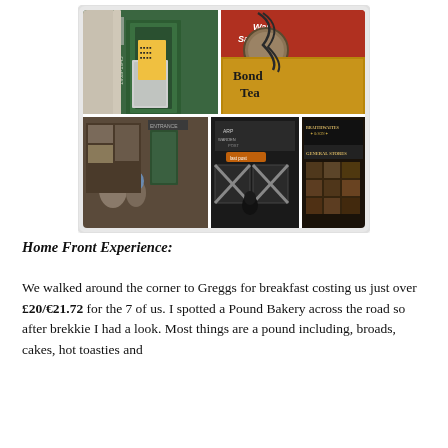[Figure (photo): Collage of 5 photos from the Home Front Experience museum: top-left shows a green doorway with War Museum sign and 1939-1945 text; top-right shows a Bond Tea sign and War Savings red sign; bottom-left shows museum interior with visitors; bottom-centre shows taped X windows/air raid display; bottom-right shows Braithwaites & Son General Stores storefront.]
Home Front Experience:
We walked around the corner to Greggs for breakfast costing us just over £20/€21.72 for the 7 of us. I spotted a Pound Bakery across the road so after brekkie I had a look. Most things are a pound including, broads, cakes, hot toasties and